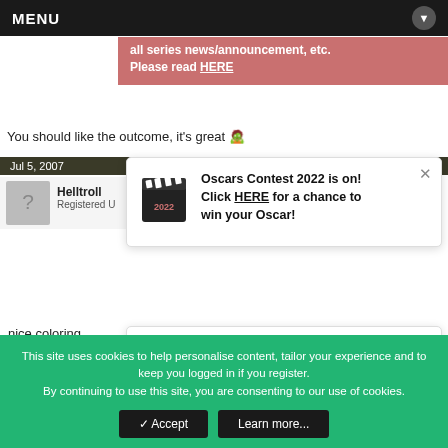MENU
all series news/announcement, etc. Please read HERE
You should like the outcome, it's great 🧟
Jul 5, 2007
Helltroll
Registered U
[Figure (infographic): Oscars Contest 2022 popup with clapperboard icon. Text: Oscars Contest 2022 is on! Click HERE for a chance to win your Oscar!]
nice coloring.
gj 🙂
Jul 5, 2007
Tsucchi
Registered User / Scanlator / Mod...
[Figure (infographic): MH Awards 2022 popup with star/wreath icon. Text: It's back! MH presents a celebration of manga/anime culture; Mangahelpers Awards 2022 is NOW LIVE!]
This site uses cookies to help personalise content, tailor your experience and to keep you logged in if you register.
By continuing to use this site, you are consenting to our use of cookies.
✓ Accept   Learn more...